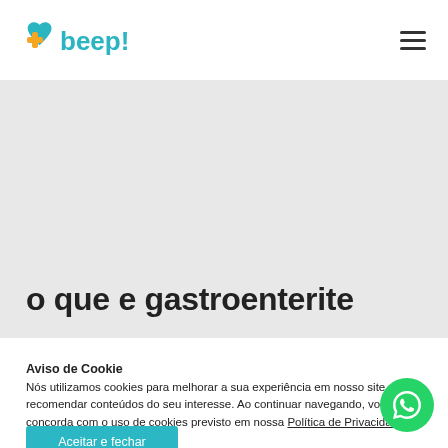[Figure (logo): beep! health logo with teal heart and orange plus sign]
o que e gastroenterite
Aviso de Cookie
Nós utilizamos cookies para melhorar a sua experiência em nosso site e recomendar conteúdos do seu interesse. Ao continuar navegando, você concorda com o uso de cookies previsto em nossa Política de Privacidade.
Aceitar e fechar